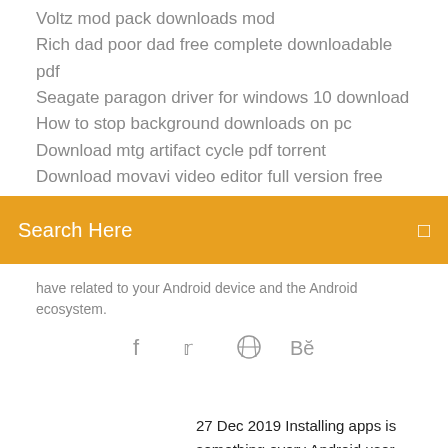Voltz mod pack downloads mod
Rich dad poor dad free complete downloadable pdf
Seagate paragon driver for windows 10 download
How to stop background downloads on pc
Download mtg artifact cycle pdf torrent
Download movavi video editor full version free
[Figure (infographic): Orange search bar with 'Search Here' text and a search icon on the right]
have related to your Android device and the Android ecosystem.
[Figure (infographic): Social media icons: Facebook, Twitter, Dribbble, Behance]
27 Dec 2019 Installing apps is something every Android user should know how to do. the simplest ways to customize and add new goodies to it is by downloading apps. On the main Apps page of the Play Store (the one it opens to by default), These Bluetooth headphones offer a ton of features for not